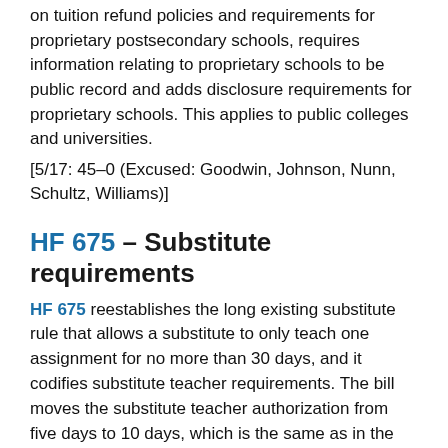on tuition refund policies and requirements for proprietary postsecondary schools, requires information relating to proprietary schools to be public record and adds disclosure requirements for proprietary schools. This applies to public colleges and universities.
[5/17: 45-0 (Excused: Goodwin, Johnson, Nunn, Schultz, Williams)]
HF 675 – Substitute requirements
HF 675 reestablishes the long existing substitute rule that allows a substitute to only teach one assignment for no more than 30 days, and it codifies substitute teacher requirements. The bill moves the substitute teacher authorization from five days to 10 days, which is the same as in the Board of Educational Examiners' (BOEE) proposed rule. A school district administrator may file a written request with BOEE for an extension of the 10-day limit in one job assignment in a 30-day period on the basis of documented need and benefit to the instructional program. The bill codifies that a substitute teacher authorization requires at least an associate degree or not less